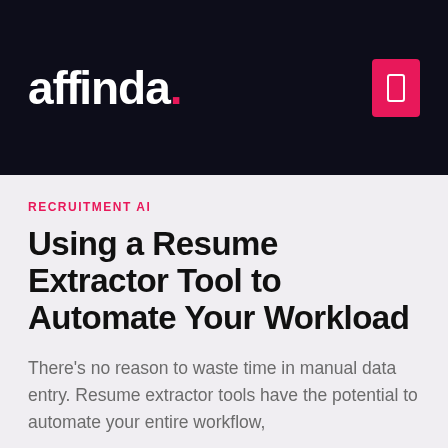[Figure (logo): Affinda logo in white text on dark navy background with pink dot, and a pink menu icon button on the right]
RECRUITMENT AI
Using a Resume Extractor Tool to Automate Your Workload
There's no reason to waste time in manual data entry. Resume extractor tools have the potential to automate your entire workflow,